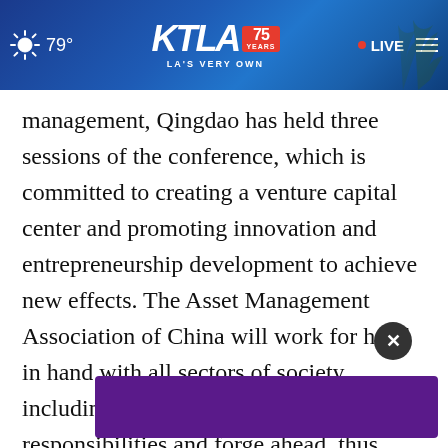KTLA 75 YEARS · LA'S VERY OWN | 79° | LIVE
management, Qingdao has held three sessions of the conference, which is committed to creating a venture capital center and promoting innovation and entrepreneurship development to achieve new effects. The Asset Management Association of China will work for hand in hand with all sectors of society, including Qingdao, to undertake responsibilities and forge ahead, thus making positive contributions to the hi- quality ... tal funds.